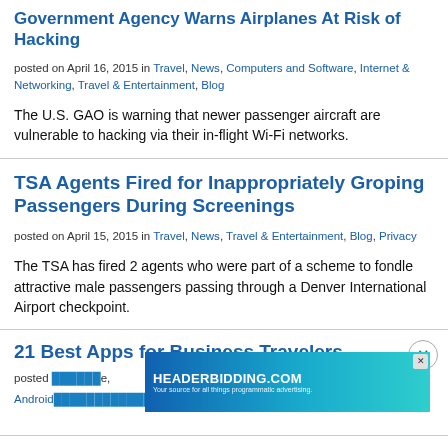Government Agency Warns Airplanes At Risk of Hacking
posted on April 16, 2015 in Travel, News, Computers and Software, Internet & Networking, Travel & Entertainment, Blog
The U.S. GAO is warning that newer passenger aircraft are vulnerable to hacking via their in-flight Wi-Fi networks.
TSA Agents Fired for Inappropriately Groping Passengers During Screenings
posted on April 15, 2015 in Travel, News, Travel & Entertainment, Blog, Privacy
The TSA has fired 2 agents who were part of a scheme to fondle attractive male passengers passing through a Denver International Airport checkpoint.
21 Best Apps for Business Travelers
posted on ... in ... Android ... Travel,
[Figure (screenshot): HEADERBIDDING.COM advertisement banner with text 'Your source for all things programmatic advertising.']